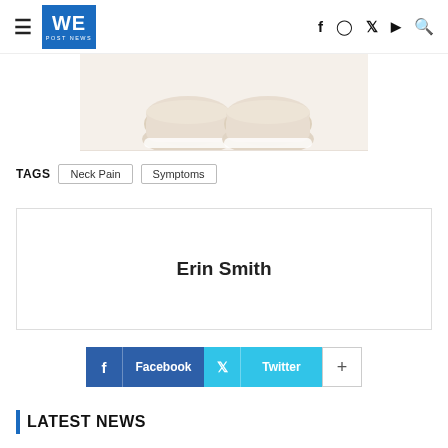WE POST NEWS
[Figure (photo): Top-down view of two beige/tan casual sneakers on a white background]
TAGS   Neck Pain   Symptoms
Erin Smith
f Facebook   Twitter   +
LATEST NEWS